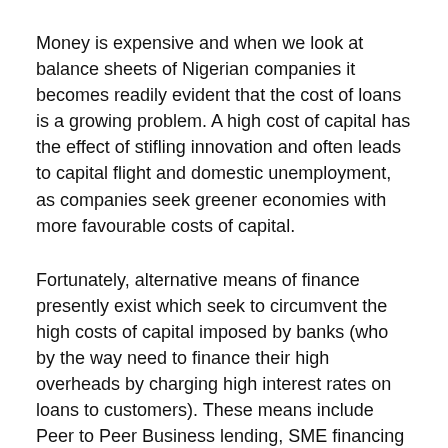Money is expensive and when we look at balance sheets of Nigerian companies it becomes readily evident that the cost of loans is a growing problem. A high cost of capital has the effect of stifling innovation and often leads to capital flight and domestic unemployment, as companies seek greener economies with more favourable costs of capital.
Fortunately, alternative means of finance presently exist which seek to circumvent the high costs of capital imposed by banks (who by the way need to finance their high overheads by charging high interest rates on loans to customers). These means include Peer to Peer Business lending, SME financing programs (especially for entrepreneurs in the agricultural space), Soft loans and Business support grants from non governmental